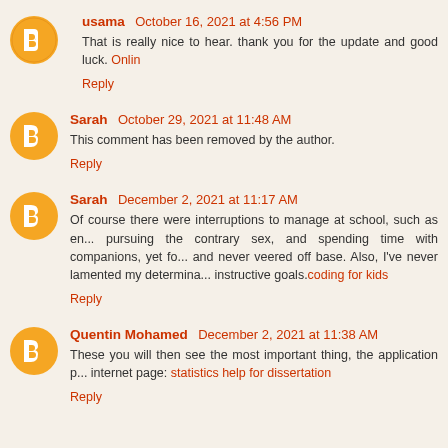usama  October 16, 2021 at 4:56 PM
That is really nice to hear. thank you for the update and good luck. Onlin...
Reply
Sarah  October 29, 2021 at 11:48 AM
This comment has been removed by the author.
Reply
Sarah  December 2, 2021 at 11:17 AM
Of course there were interruptions to manage at school, such as en... pursuing the contrary sex, and spending time with companions, yet fo... and never veered off base. Also, I've never lamented my determina... instructive goals.coding for kids
Reply
Quentin Mohamed  December 2, 2021 at 11:38 AM
These you will then see the most important thing, the application p... internet page: statistics help for dissertation
Reply